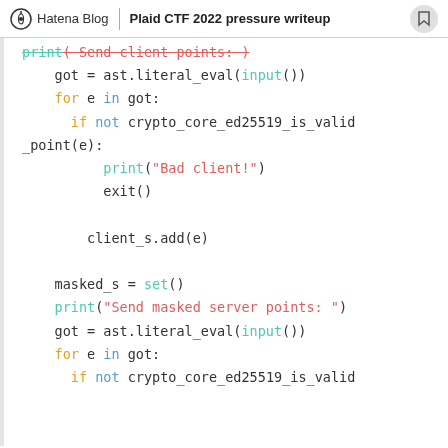Hatena Blog | Plaid CTF 2022 pressure writeup
[Figure (screenshot): Python code snippet showing: print('Send client points:'), got = ast.literal_eval(input()), for e in got: if not crypto_core_ed25519_is_valid_point(e): print('Bad client!'), exit(), client_s.add(e), masked_s = set(), print('Send masked server points: '), got = ast.literal_eval(input()), for e in got: if not crypto_core_ed25519_is_valid]